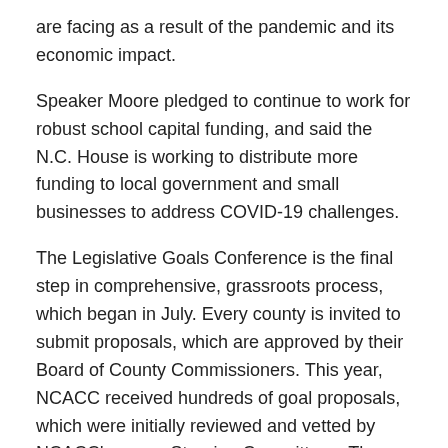are facing as a result of the pandemic and its economic impact.
Speaker Moore pledged to continue to work for robust school capital funding, and said the N.C. House is working to distribute more funding to local government and small businesses to address COVID-19 challenges.
The Legislative Goals Conference is the final step in comprehensive, grassroots process, which began in July. Every county is invited to submit proposals, which are approved by their Board of County Commissioners. This year, NCACC received hundreds of goal proposals, which were initially reviewed and vetted by NCACC's seven Steering Committees. Then, the Legislative Goals Committee reviewed and refined the goals and recommended the package to the NCACC